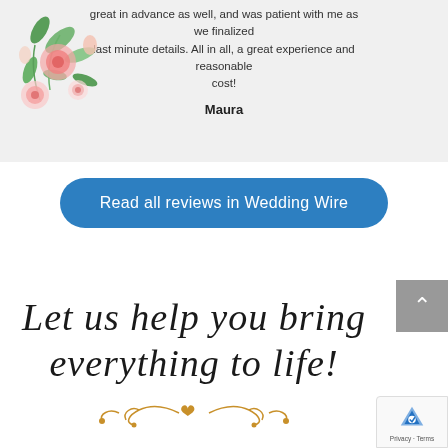great in advance as well, and was patient with me as we finalized last minute details. All in all, a great experience and reasonable cost!
Maura
[Figure (illustration): Watercolor floral decoration with pink roses and green leaves in the top-left corner]
Read all reviews in Wedding Wire
Let us help you bring everything to life!
[Figure (illustration): Golden ornamental scrollwork divider]